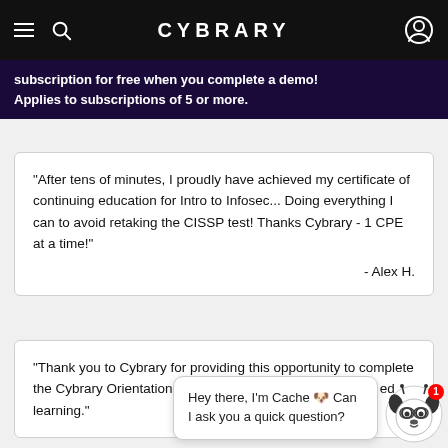CYBRARY
subscription for free when you complete a demo! Applies to subscriptions of 5 or more.
"After tens of minutes, I proudly have achieved my certificate of continuing education for Intro to Infosec... Doing everything I can to avoid retaking the CISSP test! Thanks Cybrary - 1 CPE at a time!" - Alex H.
"Thank you to Cybrary for providing this opportunity to complete the Cybrary Orientation Certification program th... ed learning."
Hey there, I'm Cache 🐶 Can I ask you a quick question?